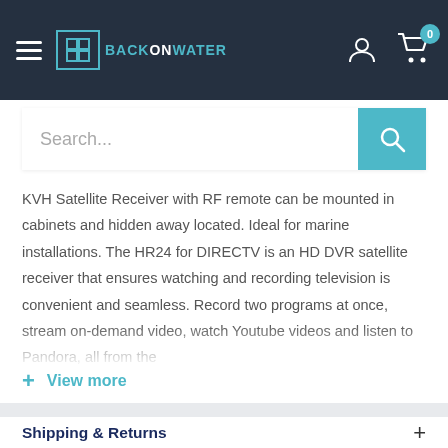BackOnWater navigation header with hamburger menu, logo, user icon, and cart with 0 items
Search...
KVH Satellite Receiver with RF remote can be mounted in cabinets and hidden away located. Ideal for marine installations. The HR24 for DIRECTV is an HD DVR satellite receiver that ensures watching and recording television is convenient and seamless. Record two programs at once, stream on-demand video, watch Youtube videos and listen to Pandora, all from the
+ View more
Shipping & Returns